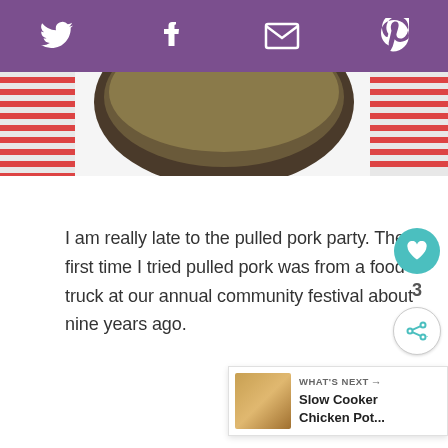[Figure (other): Purple social sharing bar with Twitter, Facebook, Email, and Pinterest icons in white]
[Figure (photo): Partial view of a dark cooking pot on a red and white striped cloth, top portion cropped]
I am really late to the pulled pork party. The first time I tried pulled pork was from a food truck at our annual community festival about nine years ago.
[Figure (other): What's Next widget showing Slow Cooker Chicken Pot... with thumbnail image]
WHAT'S NEXT → Slow Cooker Chicken Pot...